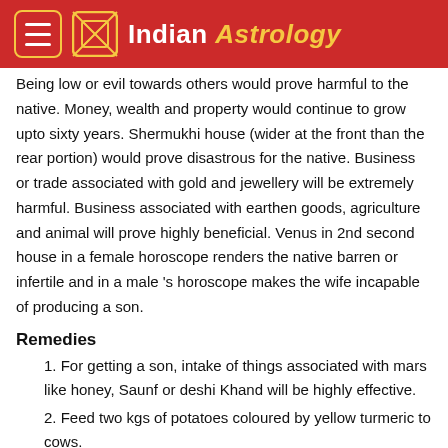Indian Astrology
Being low or evil towards others would prove harmful to the native. Money, wealth and property would continue to grow upto sixty years. Shermukhi house (wider at the front than the rear portion) would prove disastrous for the native. Business or trade associated with gold and jewellery will be extremely harmful. Business associated with earthen goods, agriculture and animal will prove highly beneficial. Venus in 2nd second house in a female horoscope renders the native barren or infertile and in a male 's horoscope makes the wife incapable of producing a son.
Remedies
1. For getting a son, intake of things associated with mars like honey, Saunf or deshi Khand will be highly effective.
2. Feed two kgs of potatoes coloured by yellow turmeric to cows.
3. Offer two kgs, cow's ghee in a temple.